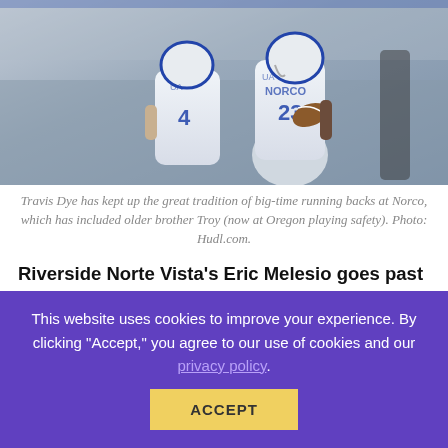[Figure (photo): Football players in white Norco uniforms (number 4 and number 23) during a game, player 23 carrying the football]
Travis Dye has kept up the great tradition of big-time running backs at Norco, which has included older brother Troy (now at Oregon playing safety). Photo: Hudl.com.
Riverside Norte Vista's Eric Melesio goes past 3,300 yards rushing with another big night while Cade Henjum of Saddleback Valley Christian gets close to 5,000 yards for passing and rushing. The only problem is that Cade's season is
This website uses cookies to improve your experience. By clicking "Accept," you agree to our use of cookies and our privacy policy.